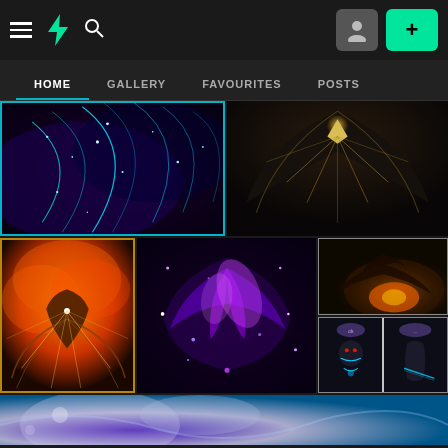[Figure (screenshot): DeviantArt website screenshot showing dark-themed UI with navigation bar, tab navigation (HOME, GALLERY, FAVOURITES, POSTS), and a gallery grid of digital artworks including space/nebula scenes, fantasy figures, and comic panels.]